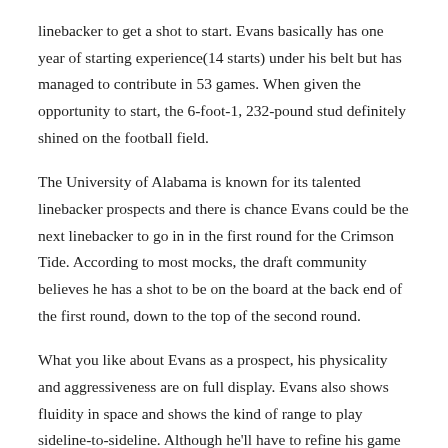linebacker to get a shot to start. Evans basically has one year of starting experience(14 starts) under his belt but has managed to contribute in 53 games. When given the opportunity to start, the 6-foot-1, 232-pound stud definitely shined on the football field.
The University of Alabama is known for its talented linebacker prospects and there is chance Evans could be the next linebacker to go in in the first round for the Crimson Tide. According to most mocks, the draft community believes he has a shot to be on the board at the back end of the first round, down to the top of the second round.
What you like about Evans as a prospect, his physicality and aggressiveness are on full display. Evans also shows fluidity in space and shows the kind of range to play sideline-to-sideline. Although he'll have to refine his game at the next level, he shows promising raw traits that cant be taught.